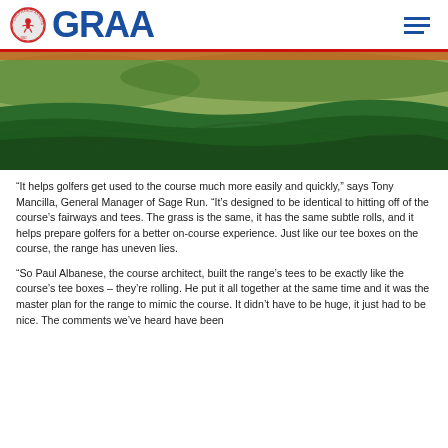GRAA
[Figure (photo): Aerial/ground-level view of a green golf course fairway with rolling grass terrain]
“It helps golfers get used to the course much more easily and quickly,” says Tony Mancilla, General Manager of Sage Run. “It’s designed to be identical to hitting off of the course’s fairways and tees. The grass is the same, it has the same subtle rolls, and it helps prepare golfers for a better on-course experience. Just like our tee boxes on the course, the range has uneven lies.
“So Paul Albanese, the course architect, built the range's tees to be exactly like the course’s tee boxes – they’re rolling. He put it all together at the same time and it was the master plan for the range to mimic the course. It didn’t have to be huge, it just had to be nice. The comments we’ve heard have been